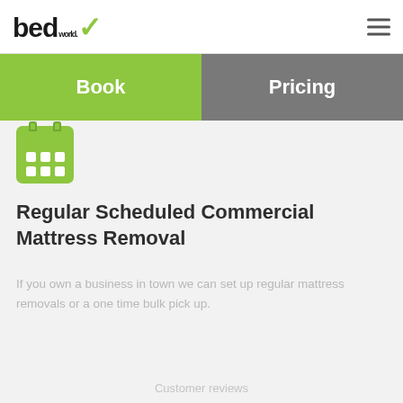bed world. [logo] Book | Pricing
[Figure (logo): Bed World logo with green checkmark and 'world.' superscript text, plus hamburger menu icon]
[Figure (other): Navigation tabs: green 'Book' tab on left, grey 'Pricing' tab on right]
[Figure (other): Green calendar icon with white dot grid]
Regular Scheduled Commercial Mattress Removal
If you own a business in town we can set up regular mattress removals or a one time bulk pick up.
Customer reviews